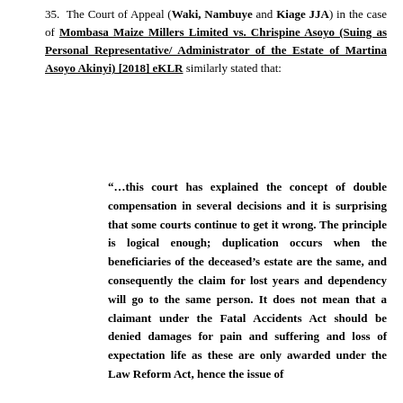35. The Court of Appeal (Waki, Nambuye and Kiage JJA) in the case of Mombasa Maize Millers Limited vs. Chrispine Asoyo (Suing as Personal Representative/ Administrator of the Estate of Martina Asoyo Akinyi) [2018] eKLR similarly stated that:
“…this court has explained the concept of double compensation in several decisions and it is surprising that some courts continue to get it wrong. The principle is logical enough; duplication occurs when the beneficiaries of the deceased’s estate are the same, and consequently the claim for lost years and dependency will go to the same person. It does not mean that a claimant under the Fatal Accidents Act should be denied damages for pain and suffering and loss of expectation life as these are only awarded under the Law Reform Act, hence the issue of duplication does not arise. The remedy